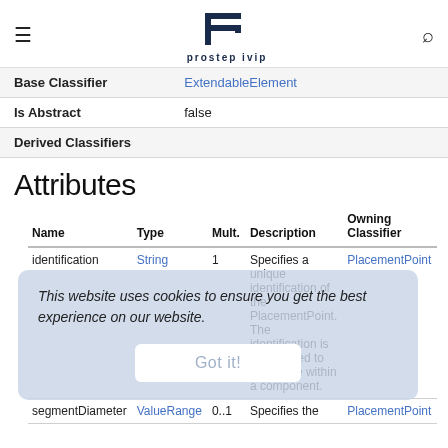prostep ivip
|  |  |
| --- | --- |
| Base Classifier | ExtendableElement |
| Is Abstract | false |
| Derived Classifiers |  |
Attributes
| Name | Type | Mult. | Description | Owning Classifier |
| --- | --- | --- | --- | --- |
| identification | String | 1 | Specifies a unique identification of the PlacementPoint. The identification is guaranteed to be unique within a component. | PlacementPoint |
| segmentDiameter | ValueRange | 0..1 | Specifies the | PlacementPoint |
This website uses cookies to ensure you get the best experience on our website.